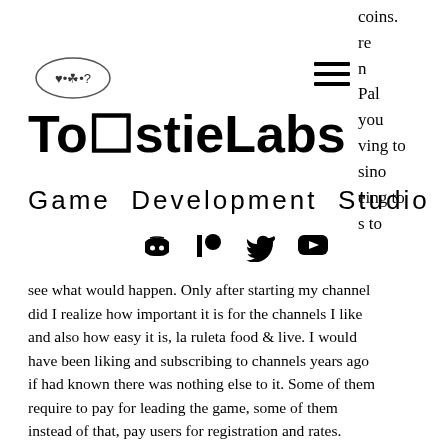[Figure (logo): ToastieLabs logo icon - small circular logo with stylized characters]
[Figure (other): Hamburger menu icon (three horizontal lines)]
ToastieLabs
Game Development Studio
[Figure (other): Social media icons: Discord, Patreon, Twitter, YouTube]
see what would happen. Only after starting my channel did I realize how important it is for the channels I like and also how easy it is, la ruleta food & live. I would have been liking and subscribing to channels years ago if had known there was nothing else to it. Some of them require to pay for leading the game, some of them instead of that, pay users for registration and rates. Before you try to play slot or a card game look through general casino articles, form in your mind image of this world and only after that go to
coins.
re
n
Pal
you
ving to
sino
eing to
s to